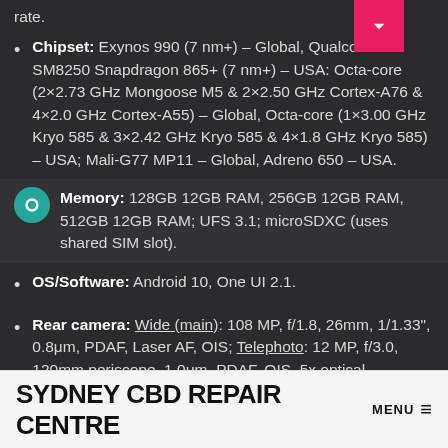rate.
Chipset: Exynos 990 (7 nm+) – Global, Qualcomm SM8250 Snapdragon 865+ (7 nm+) – USA: Octa-core (2×2.73 GHz Mongoose M5 & 2×2.50 GHz Cortex-A76 & 4×2.0 GHz Cortex-A55) – Global, Octa-core (1×3.00 GHz Kryo 585 & 3×2.42 GHz Kryo 585 & 4×1.8 GHz Kryo 585) – USA; Mali-G77 MP11 – Global, Adreno 650 – USA.
Memory: 128GB 12GB RAM, 256GB 12GB RAM, 512GB 12GB RAM; UFS 3.1; microSDXC (uses shared SIM slot).
OS/Software: Android 10, One UI 2.1.
Rear camera: Wide (main): 108 MP, f/1.8, 26mm, 1/1.33", 0.8μm, PDAF, Laser AF, OIS; Telephoto: 12 MP, f/3.0, 120mm periscope, 1.0μm, PDAF, OIS, 5x optical
SYDNEY CBD REPAIR CENTRE MENU ≡